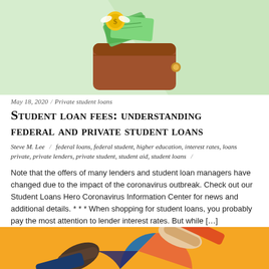[Figure (illustration): Illustration of a brown leather wallet with money bills and a gold coin with wings flying out, on a light green background with a diagonal shadow.]
May 18, 2020 / Private student loans
Student loan fees: understanding federal and private student loans
Steve M. Lee  /  federal loans, federal student, higher education, interest rates, loans private, private lenders, private student, student aid, student loans  /
Note that the offers of many lenders and student loan managers have changed due to the impact of the coronavirus outbreak. Check out our Student Loans Hero Coronavirus Information Center for news and additional details. * * * When shopping for student loans, you probably pay the most attention to lender interest rates. But while […]
[Figure (illustration): Illustration on a yellow/orange background showing hands shaking or exchanging, with circular chart elements in blue and orange.]